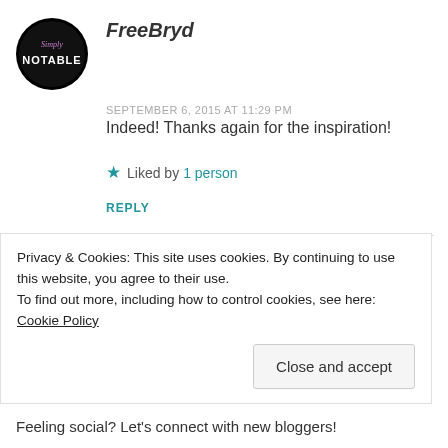[Figure (logo): Simply Notable circular logo avatar, black background with purple/white text]
FreeBryd
SEPTEMBER 6, 2015 AT 11:29 PM
Indeed! Thanks again for the inspiration!
★ Liked by 1 person
REPLY
[Figure (photo): Avatar photo of a woman outdoors with reddish/brown tones]
inspiretheworld2day
Privacy & Cookies: This site uses cookies. By continuing to use this website, you agree to their use. To find out more, including how to control cookies, see here: Cookie Policy
Close and accept
Feeling social? Let's connect with new bloggers!